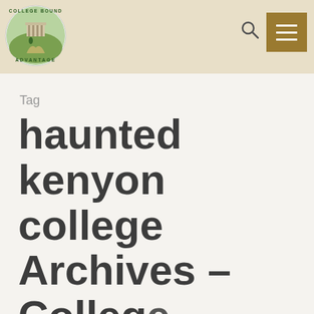[Figure (logo): College Bound Advantage circular logo with building and path illustration, text around the border reading COLLEGE BOUND ADVANTAGE]
College Bound Advantage website header with logo, search icon, and hamburger menu
Tag
haunted kenyon college Archives - College